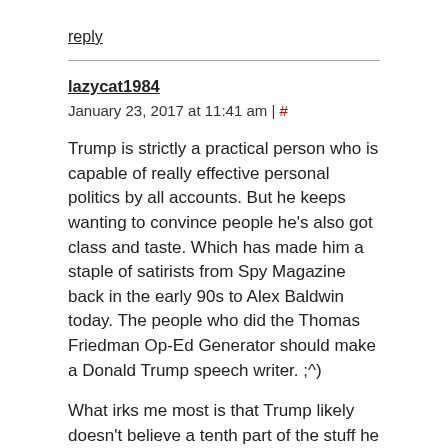reply
lazycat1984   January 23, 2017 at 11:41 am | #
Trump is strictly a practical person who is capable of really effective personal politics by all accounts. But he keeps wanting to convince people he's also got class and taste. Which has made him a staple of satirists from Spy Magazine back in the early 90s to Alex Baldwin today. The people who did the Thomas Friedman Op-Ed Generator should make a Donald Trump speech writer. ;^)
What irks me most is that Trump likely doesn't believe a tenth part of the stuff he says. He was always more comfortable with the Democratic